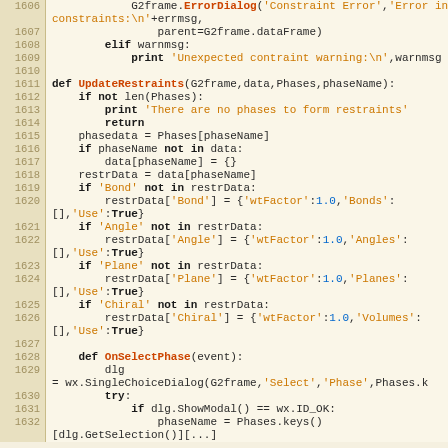[Figure (screenshot): Python source code editor showing lines 1606-1632, including functions UpdateRestraints and OnSelectPhase with syntax highlighting. Line numbers shown in left gutter with tan background. Code includes keyword highlighting (bold), string literals in orange, numbers in blue, and function names in red/orange.]